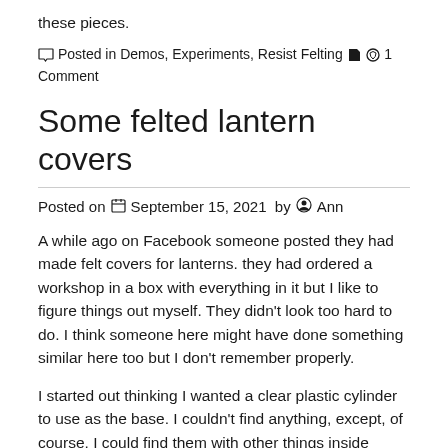these pieces.
Posted in Demos, Experiments, Resist Felting 🏷 💬 1 Comment
Some felted lantern covers
Posted on September 15, 2021 by Ann
A while ago on Facebook someone posted they had made felt covers for lanterns. they had ordered a workshop in a box with everything in it but I like to figure things out myself. They didn't look too hard to do. I think someone here might have done something similar here too but I don't remember properly.
I started out thinking I wanted a clear plastic cylinder to use as the base. I couldn't find anything, except, of course, I could find them with other things inside them.